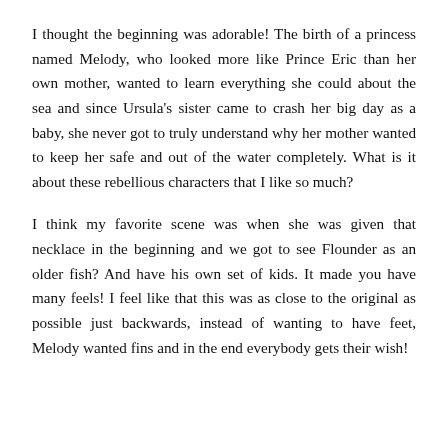I thought the beginning was adorable! The birth of a princess named Melody, who looked more like Prince Eric than her own mother, wanted to learn everything she could about the sea and since Ursula's sister came to crash her big day as a baby, she never got to truly understand why her mother wanted to keep her safe and out of the water completely. What is it about these rebellious characters that I like so much?
I think my favorite scene was when she was given that necklace in the beginning and we got to see Flounder as an older fish? And have his own set of kids. It made you have many feels! I feel like that this was as close to the original as possible just backwards, instead of wanting to have feet, Melody wanted fins and in the end everybody gets their wish!